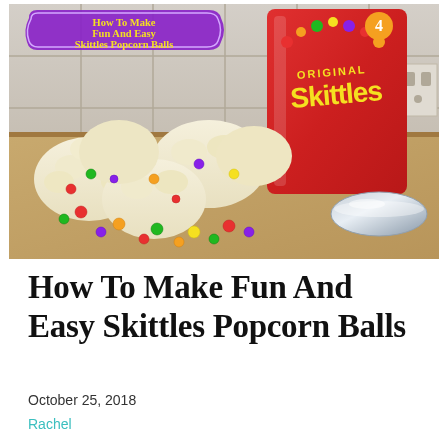[Figure (photo): Photo of Skittles popcorn balls on a cutting board next to a large red bag of Original Skittles candy and a silver bowl. The popcorn balls are coated in white and have colorful Skittles candies embedded in them and scattered around. A purple badge in the upper left of the photo reads 'How To Make Fun And Easy Skittles Popcorn Balls'.]
How To Make Fun And Easy Skittles Popcorn Balls
October 25, 2018
Rachel